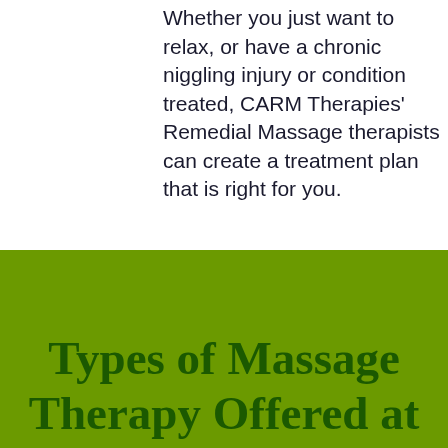Whether you just want to relax, or have a chronic niggling injury or condition treated, CARM Therapies' Remedial Massage therapists can create a treatment plan that is right for you.
Types of Massage Therapy Offered at CARM Therapies
Remedial Massage